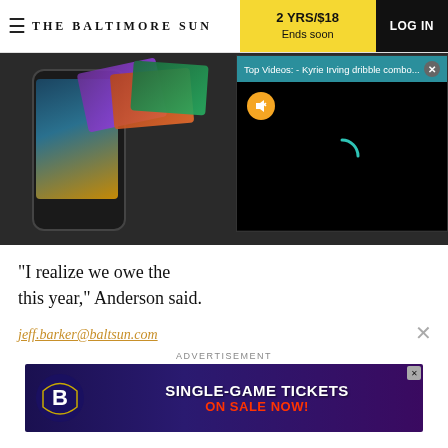THE BALTIMORE SUN | 2 YRS/$18 Ends soon | LOG IN
[Figure (screenshot): Tablet/phone device with app screens shown against dark background, partially obscured by video popup overlay. Video popup header reads 'Top Videos: - Kyrie Irving dribble combo...' with close button. Video body shows mute icon and loading spinner on black background.]
"I realize we owe the  this year," Anderson said.
jeff.barker@baltsun.com
ADVERTISEMENT
[Figure (screenshot): Baltimore Ravens advertisement banner: Ravens logo on left, 'SINGLE-GAME TICKETS' text in large white letters, 'ON SALE NOW!' in red text on purple/dark background.]